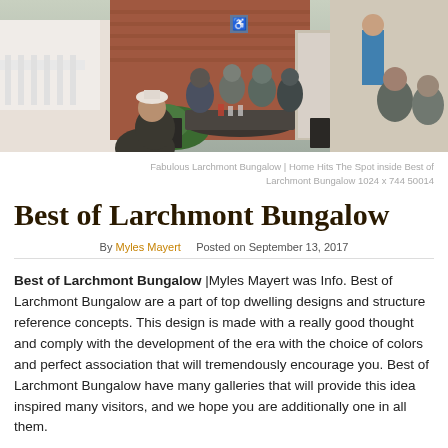[Figure (photo): Outdoor restaurant or cafe patio scene with people sitting at tables dining, brick building in background, daytime]
Fabulous Larchmont Bungalow | Home Hits The Spot inside Best of Larchmont Bungalow 1024 x 744 50014
Best of Larchmont Bungalow
By Myles Mayert   Posted on September 13, 2017
Best of Larchmont Bungalow |Myles Mayert was Info. Best of Larchmont Bungalow are a part of top dwelling designs and structure reference concepts. This design is made with a really good thought and comply with the development of the era with the choice of colors and perfect association that will tremendously encourage you. Best of Larchmont Bungalow have many galleries that will provide this idea inspired many visitors, and we hope you are additionally one in all them.